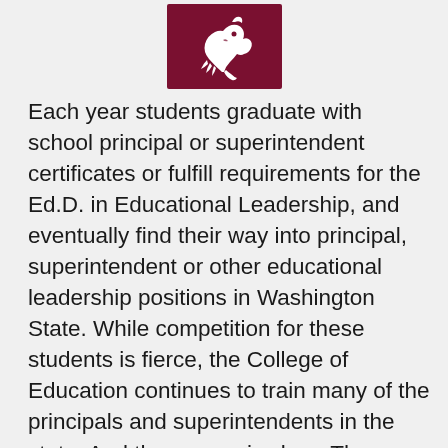[Figure (logo): Washington State University logo — dark red/crimson rectangle with a stylized white Cougar head illustration]
Each year students graduate with school principal or superintendent certificates or fulfill requirements for the Ed.D. in Educational Leadership, and eventually find their way into principal, superintendent or other educational leadership positions in Washington State. While competition for these students is fierce, the College of Education continues to train many of the principals and superintendents in the state. And the reason is clear: The practical and theoretical aspects of the program are second to none. Students make a conscious choice to enroll in the college's programs even though competing programs in the state might have a shorter time requirement, work commitment, and/or cost less. Students see the college's programs as gateways